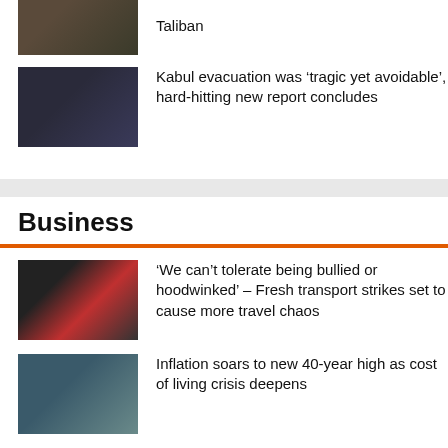[Figure (photo): Partial news thumbnail at top — Afghan/Taliban related image]
Taliban
[Figure (photo): Dark image of people looking through a window, Kabul evacuation related]
Kabul evacuation was ‘tragic yet avoidable’, hard-hitting new report concludes
Business
[Figure (photo): Protesters holding signs including 'Our Rail, Our Future' and 'Dete...' — transport strikes]
‘We can’t tolerate being bullied or hoodwinked’ – Fresh transport strikes set to cause more travel chaos
[Figure (photo): Person shopping in supermarket aisle — inflation/cost of living]
Inflation soars to new 40-year high as cost of living crisis deepens
[Figure (photo): Classical building exterior — Bank of England or similar — jobs market/interest rates]
Could ‘remarkably robust’ jobs market pave the way for fresh interest rate rise?